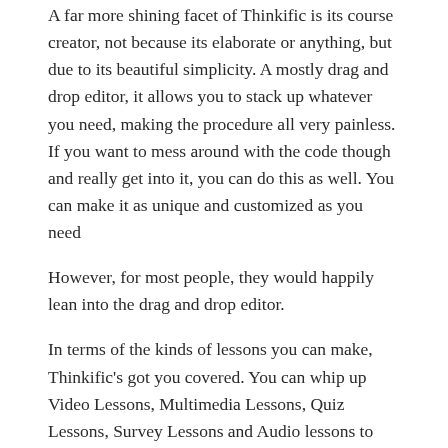A far more shining facet of Thinkific is its course creator, not because its elaborate or anything, but due to its beautiful simplicity. A mostly drag and drop editor, it allows you to stack up whatever you need, making the procedure all very painless. If you want to mess around with the code though and really get into it, you can do this as well. You can make it as unique and customized as you need
However, for most people, they would happily lean into the drag and drop editor.
In terms of the kinds of lessons you can make, Thinkific's got you covered. You can whip up Video Lessons, Multimedia Lessons, Quiz Lessons, Survey Lessons and Audio lessons to name a few. It's all there.
Communication with your students is also a breeze. You can send individual emails to your students or start a conversation with the entire community. They even remember to concentrate on the small things that people have a tendency to gloss over: Visual Management. Each student's picture can be seen, names, contact information and